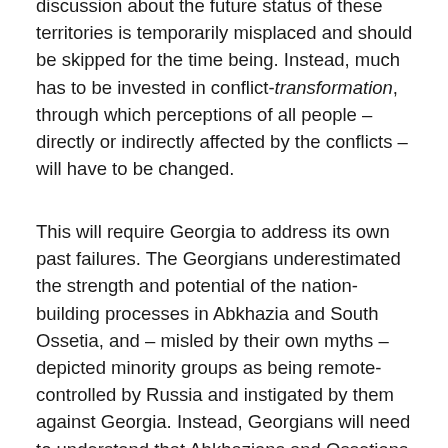discussion about the future status of these territories is temporarily misplaced and should be skipped for the time being. Instead, much has to be invested in conflict-transformation, through which perceptions of all people – directly or indirectly affected by the conflicts – will have to be changed.
This will require Georgia to address its own past failures. The Georgians underestimated the strength and potential of the nation-building processes in Abkhazia and South Ossetia, and – misled by their own myths – depicted minority groups as being remote-controlled by Russia and instigated by them against Georgia. Instead, Georgians will need to understand that Abkhazians and Ossetians are not will-less appendices of a Russian plan to re-conquer the Caucasus. They had their own concerns –